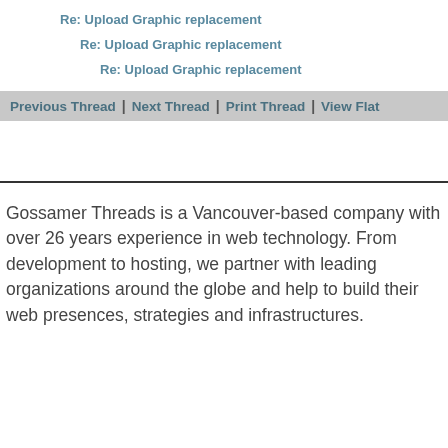Re: Upload Graphic replacement
Re: Upload Graphic replacement
Re: Upload Graphic replacement
Previous Thread | Next Thread | Print Thread | View Flat
Gossamer Threads is a Vancouver-based company with over 26 years experience in web technology. From development to hosting, we partner with leading organizations around the globe and help to build their web presences, strategies and infrastructures.